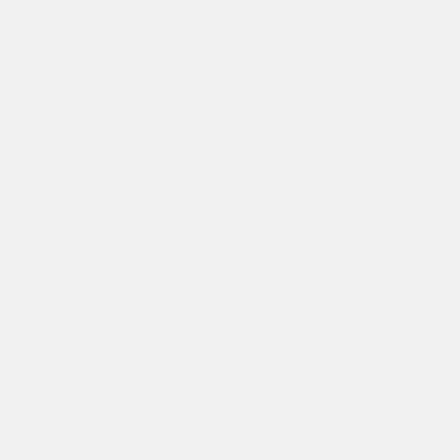the s… to wa… and … and …
[Figure (illustration): Generic user avatar placeholder image — grey silhouette of a person on grey background]
back to top
Shar… Fair what hear state swun poin surp asse You' state bail conf But h your